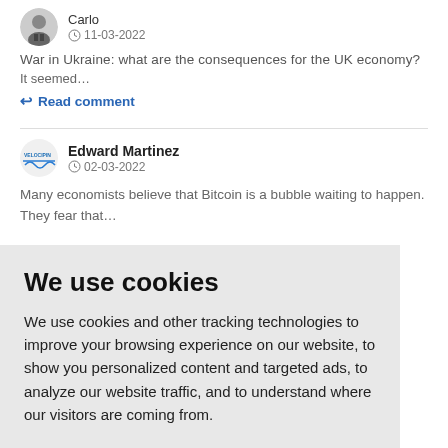11-03-2022
War in Ukraine: what are the consequences for the UK economy?
It seemed…
Read comment
Edward Martinez
02-03-2022
Many economists believe that Bitcoin is a bubble waiting to happen. They fear that…
We use cookies
We use cookies and other tracking technologies to improve your browsing experience on our website, to show you personalized content and targeted ads, to analyze our website traffic, and to understand where our visitors are coming from.